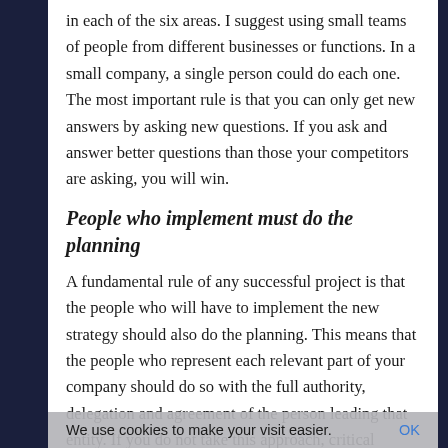in each of the six areas. I suggest using small teams of people from different businesses or functions. In a small company, a single person could do each one. The most important rule is that you can only get new answers by asking new questions. If you ask and answer better questions than those your competitors are asking, you will win.
People who implement must do the planning
A fundamental rule of any successful project is that the people who will have to implement the new strategy should also do the planning. This means that the people who represent each relevant part of your company should do so with the full authority, delegation and agreement of the person leading that entity. If you do not take this approach, critical stakeholders will reject the results of the analysis and
We use cookies to make your visit easier.